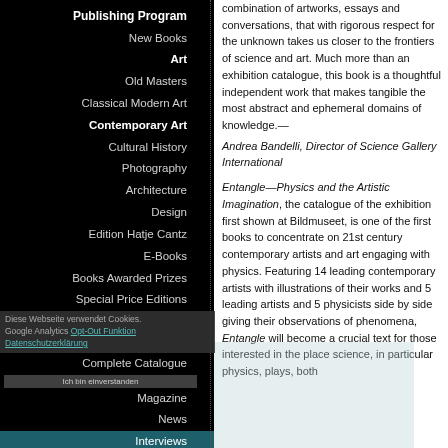Publishing Program
New Books
Art
Old Masters
Classical Modern Art
Contemporary Art
Cultural History
Photography
Architecture
Design
Edition Hatje Cantz
E-Books
Books Awarded Prizes
Special Price Editions
Complete Catalogue
Magazine
News
Interviews
Artists & Art Dictionary
About Us
Newsletter
Diese Webseite verwendet Cookies. Google Analytics Opt-Out Funktion Datenschutzerklärung Ich bin einverstanden
combination of artworks, essays and conversations, that with rigorous respect for the unknown takes us closer to the frontiers of science and art. Much more than an exhibition catalogue, this book is a thoughtful independent work that makes tangible the most abstract and ephemeral domains of knowledge.—
Andrea Bandelli, Director of Science Gallery International
Entangle—Physics and the Artistic Imagination, the catalogue of the exhibition first shown at Bildmuseet, is one of the first books to concentrate on 21st century contemporary artists and art engaging with physics. Featuring 14 leading contemporary artists with illustrations of their works and 5 leading artists and 5 physicists side by side giving their observations of phenomena, Entangle will become a crucial text for those interested in the place science, in particular physics, plays, both